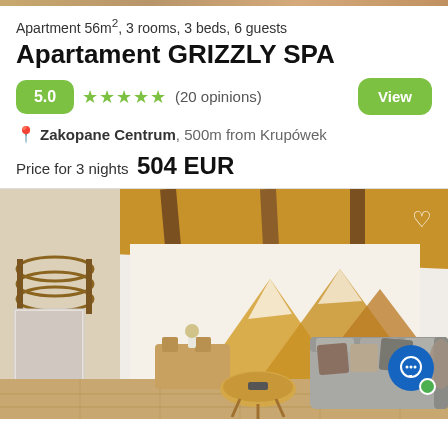Apartment 56m², 3 rooms, 3 beds, 6 guests
Apartament GRIZZLY SPA
5.0 ★★★★★ (20 opinions)
View
Zakopane Centrum, 500m from Krupówek
Price for 3 nights  504 EUR
[Figure (photo): Interior of a mountain-style apartment with wooden ceiling beams, a grey sofa with decorative pillows, a wooden coffee table, dining chairs, and a large mountain mural painted on the wall in gold/amber tones]